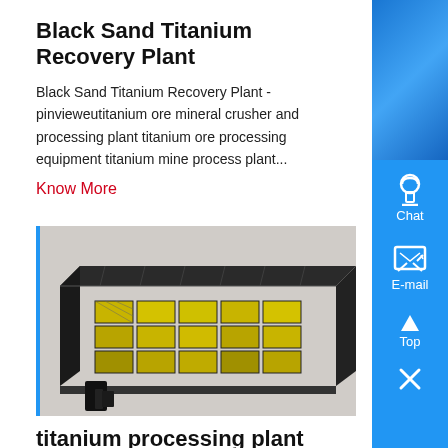Black Sand Titanium Recovery Plant
Black Sand Titanium Recovery Plant - pinvieweutitanium ore mineral crusher and processing plant titanium ore processing equipment titanium mine process plant...
Know More
[Figure (photo): 3D rendering of a titanium processing plant equipment with yellow internal components in a dark metal frame housing]
titanium processing plant
titanium processing plant As a global leading manufacturer of products and services for the mining industry, our company can provide you with advanced, rational solutions for any size-reduction requirements, including quarry, aggregate, grinding production a